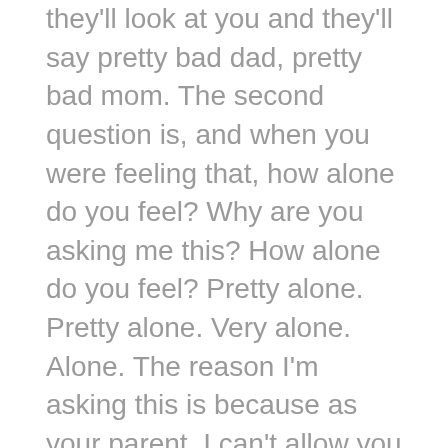they'll look at you and they'll say pretty bad dad, pretty bad mom. The second question is, and when you were feeling that, how alone do you feel? Why are you asking me this? How alone do you feel? Pretty alone. Pretty alone. Very alone. Alone. The reason I'm asking this is because as your parent, I can't allow you to be alone and health. If you become a parent, and you get the owner's manual, don't allow your kids to be alone in hell through there.
Mark Goulston 26:57
Then the third thing you say to them is, take me to the last time that happened. What Take me to the last time was a 230 in the morning, and